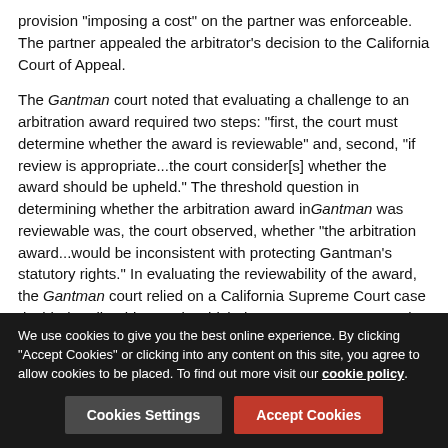provision "imposing a cost" on the partner was enforceable. The partner appealed the arbitrator's decision to the California Court of Appeal.
The Gantman court noted that evaluating a challenge to an arbitration award required two steps: "first, the court must determine whether the award is reviewable" and, second, "if review is appropriate...the court consider[s] whether the award should be upheld." The threshold question in determining whether the arbitration award in Gantman was reviewable was, the court observed, whether "the arbitration award...would be inconsistent with protecting Gantman's statutory rights." In evaluating the reviewability of the award, the Gantman court relied on a California Supreme Court case decided earlier this year in which the Supreme Court stated that "arbitrator's may exceed their powers by issuing an award that violates a party's
We use cookies to give you the best online experience. By clicking "Accept Cookies" or clicking into any content on this site, you agree to allow cookies to be placed. To find out more visit our cookie policy.